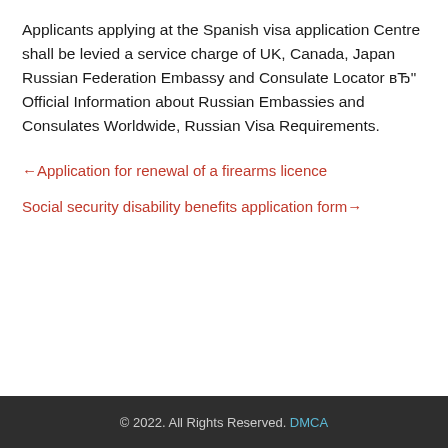Applicants applying at the Spanish visa application Centre shall be levied a service charge of UK, Canada, Japan Russian Federation Embassy and Consulate Locator вЂ" Official Information about Russian Embassies and Consulates Worldwide, Russian Visa Requirements.
←Application for renewal of a firearms licence
Social security disability benefits application form→
© 2022. All Rights Reserved. DMCA